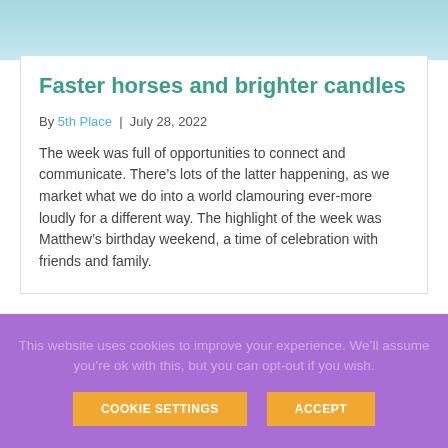[Figure (photo): Blurred photo of candles or jars with teal/blue color tones]
Faster horses and brighter candles
By 5th Place | July 28, 2022
The week was full of opportunities to connect and communicate. There’s lots of the latter happening, as we market what we do into a world clamouring ever-more loudly for a different way. The highlight of the week was Matthew’s birthday weekend, a time of celebration with friends and family.
This website uses cookies to improve your experience. We’ll assume you’re ok with this, but you can opt-out if you wish.
COOKIE SETTINGS  ACCEPT